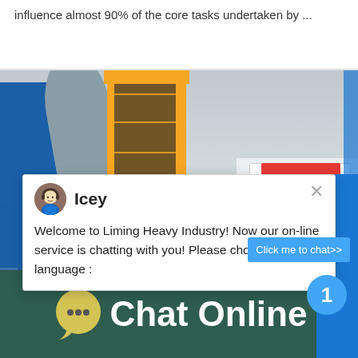influence almost 90% of the core tasks undertaken by ...
[Figure (photo): Industrial heavy equipment facility with yellow tower crane structure, blue building, and cone crusher machine on the right side]
Icey
Welcome to Liming Heavy Industry! Now our on-line service is chatting with you! Please choose the language :
1
Click me to chat>>
Chat Online